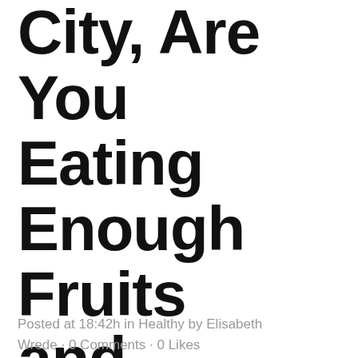City, Are You Eating Enough Fruits and Vegetables?
Posted at 18:42h in Healthy by Elisabeth Wrede · 0 Comments · 0 Likes